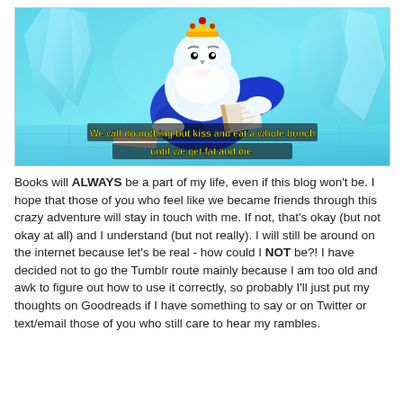[Figure (illustration): Cartoon screenshot from Adventure Time showing the Ice King character sitting and reading a book, in an icy blue palace setting. Yellow subtitle text reads: 'We will do nothing but kiss and eat a whole bunch until we get fat and die.']
Books will ALWAYS be a part of my life, even if this blog won't be. I hope that those of you who feel like we became friends through this crazy adventure will stay in touch with me. If not, that's okay (but not okay at all) and I understand (but not really). I will still be around on the internet because let's be real - how could I NOT be?! I have decided not to go the Tumblr route mainly because I am too old and awk to figure out how to use it correctly, so probably I'll just put my thoughts on Goodreads if I have something to say or on Twitter or text/email those of you who still care to hear my rambles.